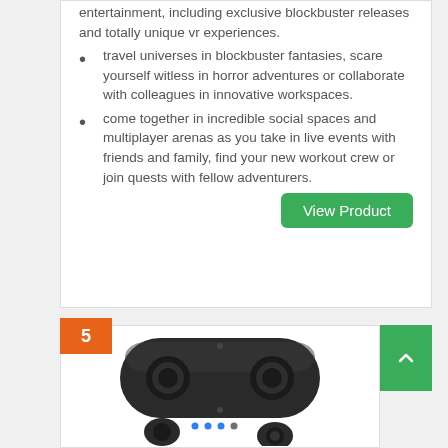entertainment, including exclusive blockbuster releases and totally unique vr experiences.
travel universes in blockbuster fantasies, scare yourself witless in horror adventures or collaborate with colleagues in innovative workspaces.
come together in incredible social spaces and multiplayer arenas as you take in live events with friends and family, find your new workout crew or join quests with fellow adventurers.
View Product
5
[Figure (photo): Wireless earbuds with charging case]